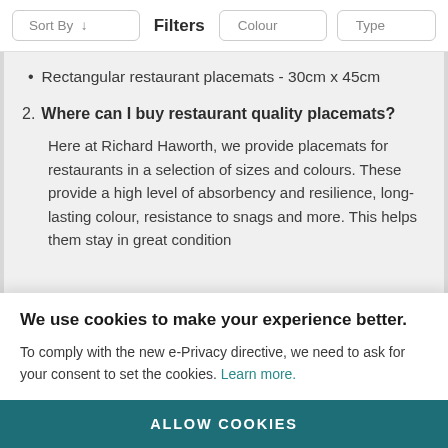Sort By ↓   Filters   Colour   Type
Rectangular restaurant placemats - 30cm x 45cm
2. Where can I buy restaurant quality placemats?
Here at Richard Haworth, we provide placemats for restaurants in a selection of sizes and colours. These provide a high level of absorbency and resilience, long-lasting colour, resistance to snags and more. This helps them stay in great condition
We use cookies to make your experience better.
To comply with the new e-Privacy directive, we need to ask for your consent to set the cookies. Learn more.
ALLOW COOKIES